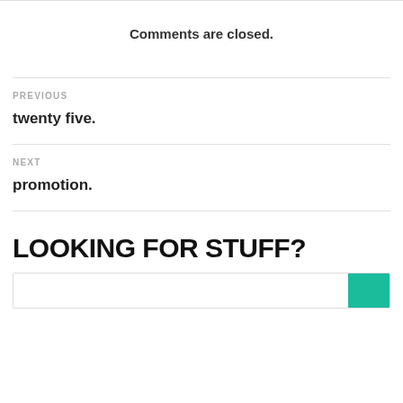Comments are closed.
PREVIOUS
twenty five.
NEXT
promotion.
LOOKING FOR STUFF?